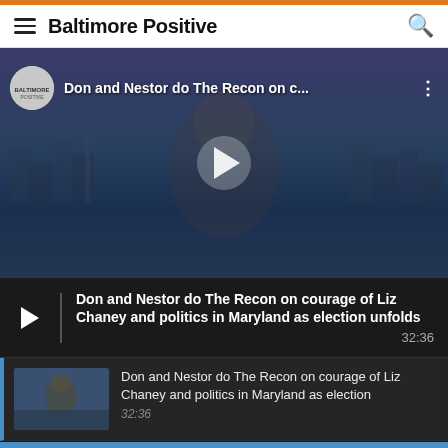Baltimore Positive
[Figure (screenshot): YouTube video thumbnail showing a man wearing a mask and headphones with a Baltimore city skyline backdrop. Video title: 'Don and Nestor do The Recon on c...' with Baltimore Positive channel logo and play button overlay.]
Don and Nestor do The Recon on courage of Liz Chaney and politics in Maryland as election unfolds
32:36
Don and Nestor do The Recon on courage of Liz Chaney and politics in Maryland as election
32:36
Don Mohler and Nestor reconnect The Recon on Alaska, crab cakes, travel, espionage and
47:55
Coppin State President Anthony Jenkins discusses modern role of HBCU schools with
18:41